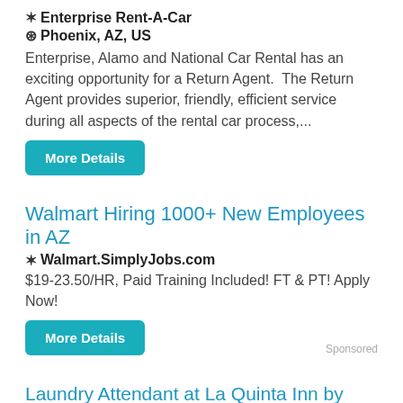❋ Enterprise Rent-A-Car
◎ Phoenix, AZ, US
Enterprise, Alamo and National Car Rental has an exciting opportunity for a Return Agent.  The Return Agent provides superior, friendly, efficient service during all aspects of the rental car process,...
More Details
Walmart Hiring 1000+ New Employees in AZ
❋ Walmart.SimplyJobs.com
$19-23.50/HR, Paid Training Included! FT & PT! Apply Now!
More Details
Sponsored
Laundry Attendant at La Quinta Inn by Wyndham Phoenix Sky Harbor Airport
❋ La Quinta Inn by Wyndham Phoenix Sky Harbor